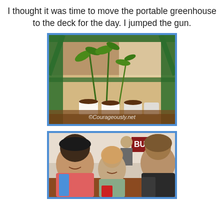I thought it was time to move the portable greenhouse to the deck for the day. I jumped the gun.
[Figure (photo): Photo of a portable greenhouse with green metal frame and plastic covering, containing several potted tomato seedlings and other plants on shelves. A watermark reads '©Courageously.net'.]
[Figure (photo): Photo of three young people (two men and a woman) sitting at a table in a burger restaurant, smiling at the camera. A 'BURGERS' sign is visible in the background.]